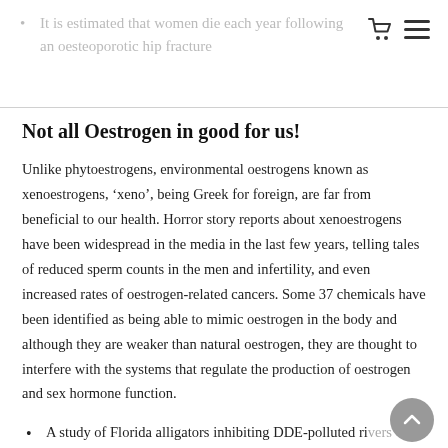It is estimated that women die each year following an oesteoporotic hip fracture
Not all Oestrogen in good for us!
Unlike phytoestrogens, environmental oestrogens known as xenoestrogens, ‘xeno’, being Greek for foreign, are far from beneficial to our health. Horror story reports about xenoestrogens have been widespread in the media in the last few years, telling tales of reduced sperm counts in the men and infertility, and even increased rates of oestrogen-related cancers. Some 37 chemicals have been identified as being able to mimic oestrogen in the body and although they are weaker than natural oestrogen, they are thought to interfere with the systems that regulate the production of oestrogen and sex hormone function.
A study of Florida alligators inhibiting DDE-polluted rivers revealed low rates of hatching, and those eggs that did hatch were predominantly female offspring, or males with